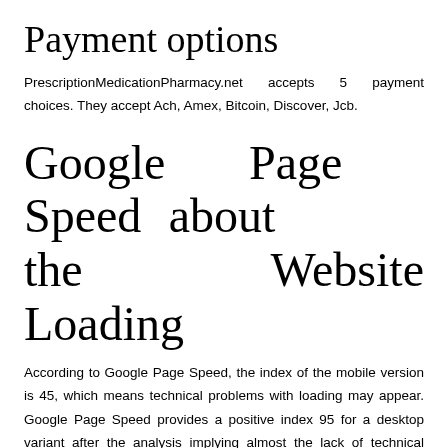Payment options
PrescriptionMedicationPharmacy.net accepts 5 payment choices. They accept Ach, Amex, Bitcoin, Discover, Jcb.
Google Page Speed about the Website Loading
According to Google Page Speed, the index of the mobile version is 45, which means technical problems with loading may appear. Google Page Speed provides a positive index 95 for a desktop variant after the analysis implying almost the lack of technical drawbacks.